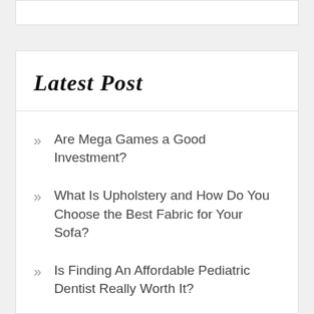Latest Post
Are Mega Games a Good Investment?
What Is Upholstery and How Do You Choose the Best Fabric for Your Sofa?
Is Finding An Affordable Pediatric Dentist Really Worth It?
Enjoy Slots at Parimatch Play Slots Casino and Win a Jackpot!